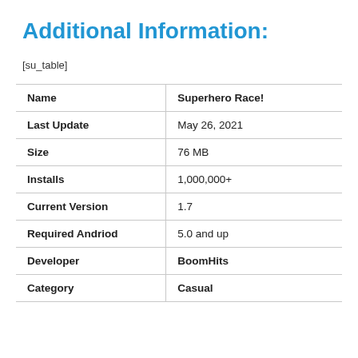Additional Information:
[su_table]
| Name | Superhero Race! |
| Last Update | May 26, 2021 |
| Size | 76 MB |
| Installs | 1,000,000+ |
| Current Version | 1.7 |
| Required Andriod | 5.0 and up |
| Developer | BoomHits |
| Category | Casual |